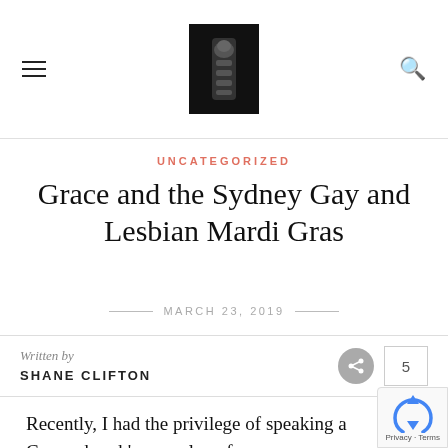UNCATEGORIZED
Grace and the Sydney Gay and Lesbian Mardi Gras
MARCH 23, 2019
Written by SHANE CLIFTON
Recently, I had the privilege of speaking a Crave church's annual conference